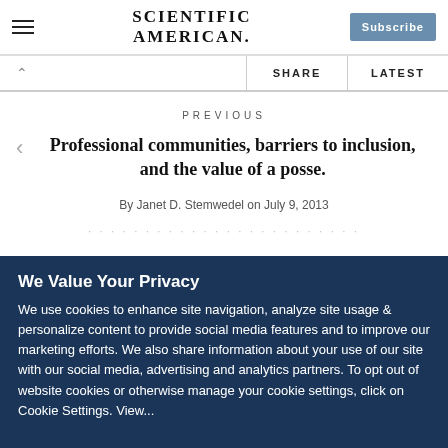Scientific American — Subscribe
SHARE  LATEST
PREVIOUS
Professional communities, barriers to inclusion, and the value of a posse.
By Janet D. Stemwedel on July 9, 2013
We Value Your Privacy
We use cookies to enhance site navigation, analyze site usage & personalize content to provide social media features and to improve our marketing efforts. We also share information about your use of our site with our social media, advertising and analytics partners. To opt out of website cookies or otherwise manage your cookie settings, click on Cookie Settings. View...